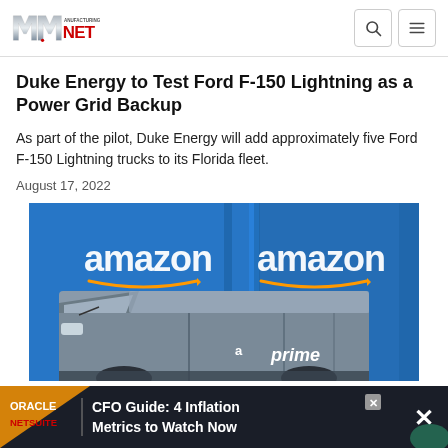Manufacturing.NET
Duke Energy to Test Ford F-150 Lightning as a Power Grid Backup
As part of the pilot, Duke Energy will add approximately five Ford F-150 Lightning trucks to its Florida fleet.
August 17, 2022
[Figure (photo): Amazon Prime delivery van in front of blue Amazon branded background]
[Figure (infographic): Oracle NetSuite advertisement banner: CFO Guide: 4 Inflation Metrics to Watch Now]